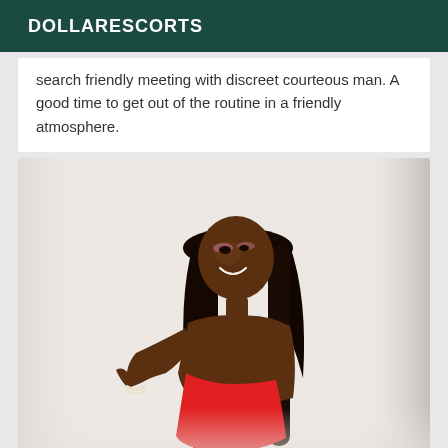DOLLARESCORTS
search friendly meeting with discreet courteous man. A good time to get out of the routine in a friendly atmosphere.
[Figure (photo): A woman with long dark straight hair wearing a red dress, posed looking back over her shoulder and smiling, against a white background. The image has motion blur at the bottom.]